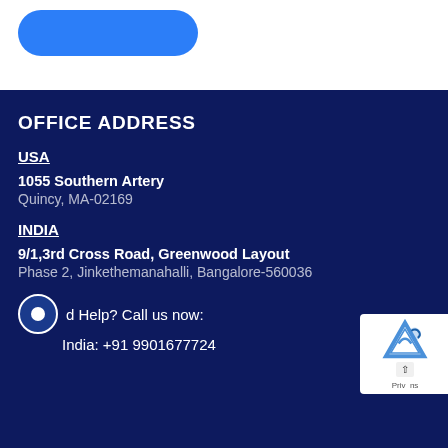[Figure (other): Blue rounded button at top of page]
OFFICE ADDRESS
USA
1055 Southern Artery
Quincy, MA-02169
INDIA
9/1,3rd Cross Road, Greenwood Layout
Phase 2, Jinkethemanahalli, Bangalore-560036
d Help? Call us now:
India: +91 9901677724